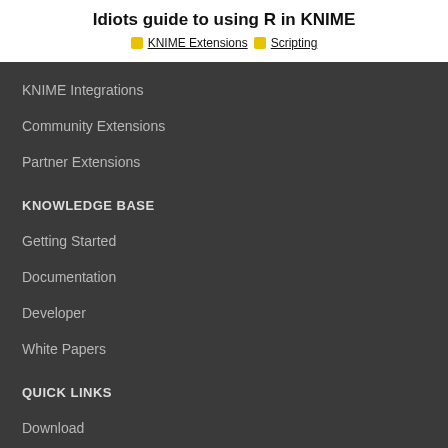Idiots guide to using R in KNIME
KNIME Extensions   Scripting
KNIME Integrations
Community Extensions
Partner Extensions
KNOWLEDGE BASE
Getting Started
Documentation
Developer
White Papers
QUICK LINKS
Download
KNIME Open Source Story